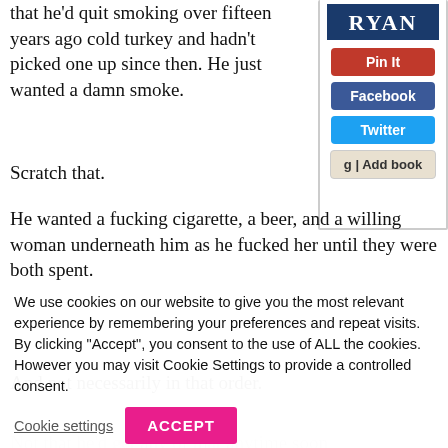that he'd quit smoking over fifteen years ago cold turkey and hadn't picked one up since then. He just wanted a damn smoke.
Scratch that.
He wanted a fucking cigarette, a beer, and a willing woman underneath him as he fucked her until they were both spent.
And not necessarily in that order.
[Figure (screenshot): Book cover sidebar with RYAN title, Pin It (red), Facebook (blue), Twitter (light blue), and g|Add book (beige) buttons]
Not that he'd get any of that anytime soon
We use cookies on our website to give you the most relevant experience by remembering your preferences and repeat visits. By clicking "Accept", you consent to the use of ALL the cookies. However you may visit Cookie Settings to provide a controlled consent.
Cookie settings   ACCEPT
And considering it had been a long six months since he'd last...he was pretty sure he wouldn't be getting laid anytime soon. He and his